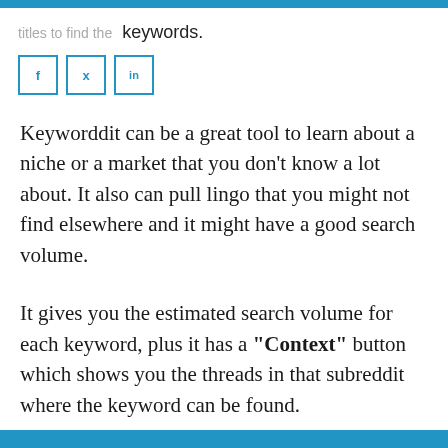titles to find the keywords.
Keyworddit can be a great tool to learn about a niche or a market that you don't know a lot about. It also can pull lingo that you might not find elsewhere and it might have a good search volume.
It gives you the estimated search volume for each keyword, plus it has a "Context" button which shows you the threads in that subreddit where the keyword can be found.